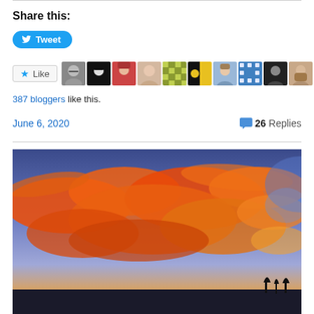Share this:
[Figure (screenshot): Tweet button - blue rounded button with Twitter bird icon and 'Tweet' text]
[Figure (screenshot): Like button with star icon and row of 10 blogger avatar thumbnails]
387 bloggers like this.
June 6, 2020   💬 26 Replies
[Figure (photo): Dramatic sunset sky with vivid orange and red clouds against a blue sky, silhouette of city skyline at bottom]